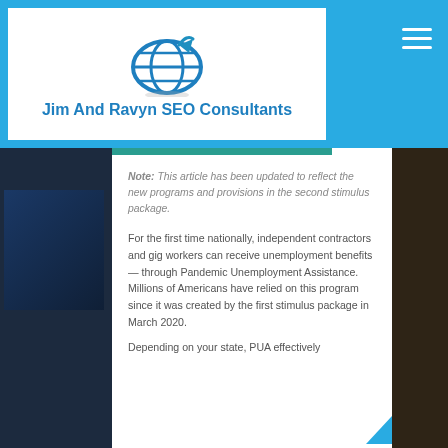Jim And Ravyn SEO Consultants
Note: This article has been updated to reflect the new programs and provisions in the second stimulus package.
For the first time nationally, independent contractors and gig workers can receive unemployment benefits — through Pandemic Unemployment Assistance. Millions of Americans have relied on this program since it was created by the first stimulus package in March 2020.
Depending on your state, PUA effectively